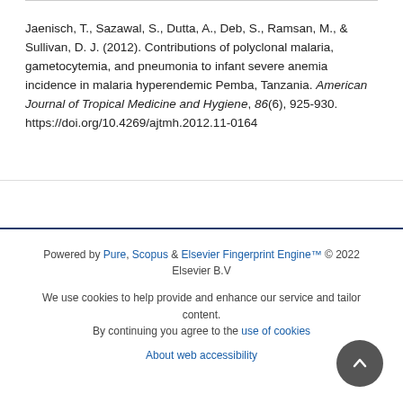Jaenisch, T., Sazawal, S., Dutta, A., Deb, S., Ramsan, M., & Sullivan, D. J. (2012). Contributions of polyclonal malaria, gametocytemia, and pneumonia to infant severe anemia incidence in malaria hyperendemic Pemba, Tanzania. American Journal of Tropical Medicine and Hygiene, 86(6), 925-930. https://doi.org/10.4269/ajtmh.2012.11-0164
Powered by Pure, Scopus & Elsevier Fingerprint Engine™ © 2022 Elsevier B.V
We use cookies to help provide and enhance our service and tailor content. By continuing you agree to the use of cookies
About web accessibility